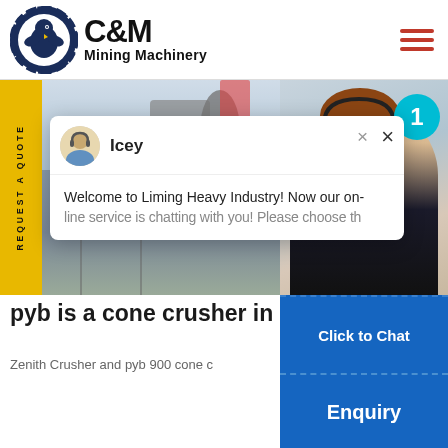[Figure (logo): C&M Mining Machinery logo with eagle gear emblem]
[Figure (photo): Industrial mining machinery equipment — cone crushers and plant structures]
[Figure (screenshot): Chat popup with agent Icey: 'Welcome to Liming Heavy Industry! Now our on-line service is chatting with you! Please choose th...' with close button]
[Figure (photo): Customer service representative with headset, teal badge showing '1']
pyb is a cone crusher in
Zenith Crusher and pyb 900 cone c
Click to Chat
Enquiry